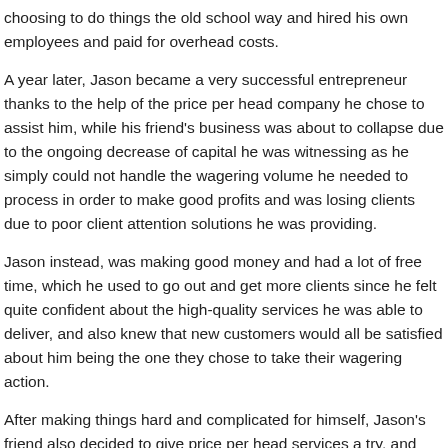choosing to do things the old school way and hired his own employees and paid for overhead costs.
A year later, Jason became a very successful entrepreneur thanks to the help of the price per head company he chose to assist him, while his friend's business was about to collapse due to the ongoing decrease of capital he was witnessing as he simply could not handle the wagering volume he needed to process in order to make good profits and was losing clients due to poor client attention solutions he was providing.
Jason instead, was making good money and had a lot of free time, which he used to go out and get more clients since he felt quite confident about the high-quality services he was able to deliver, and also knew that new customers would all be satisfied about him being the one they chose to take their wagering action.
After making things hard and complicated for himself, Jason's friend also decided to give price per head services a try, and since then, his business also started to flourish steadily, which allowed